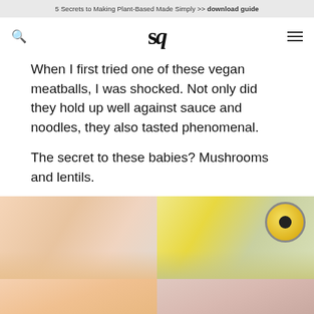5 Secrets to Making Plant-Based Made Simply >> download guide
sq
When I first tried one of these vegan meatballs, I was shocked. Not only did they hold up well against sauce and noodles, they also tasted phenomenal.
The secret to these babies? Mushrooms and lentils.
[Figure (photo): Bottom portion of a food photo showing plates with vegan meatballs and pasta, partially cropped]